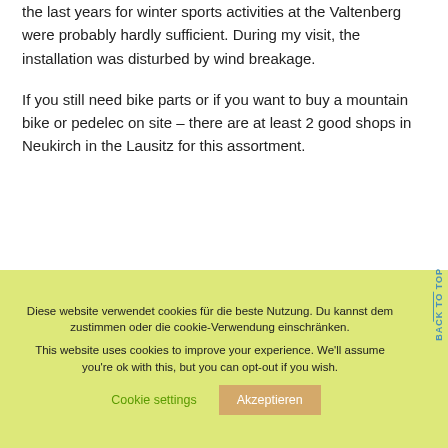the last years for winter sports activities at the Valtenberg were probably hardly sufficient. During my visit, the installation was disturbed by wind breakage.
If you still need bike parts or if you want to buy a mountain bike or pedelec on site – there are at least 2 good shops in Neukirch in the Lausitz for this assortment.
Diese website verwendet cookies für die beste Nutzung. Du kannst dem zustimmen oder die cookie-Verwendung einschränken.
This website uses cookies to improve your experience. We'll assume you're ok with this, but you can opt-out if you wish.
Cookie settings  Akzeptieren